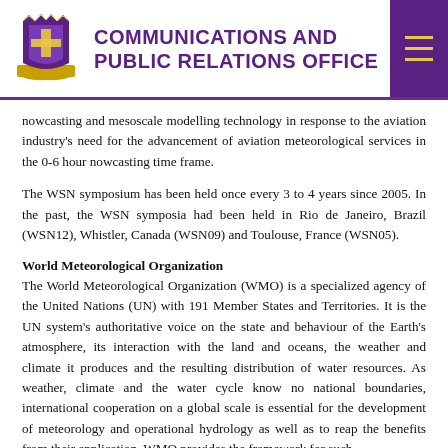COMMUNICATIONS AND PUBLIC RELATIONS OFFICE
nowcasting and mesoscale modelling technology in response to the aviation industry's need for the advancement of aviation meteorological services in the 0-6 hour nowcasting time frame.
The WSN symposium has been held once every 3 to 4 years since 2005. In the past, the WSN symposia had been held in Rio de Janeiro, Brazil (WSN12), Whistler, Canada (WSN09) and Toulouse, France (WSN05).
World Meteorological Organization
The World Meteorological Organization (WMO) is a specialized agency of the United Nations (UN) with 191 Member States and Territories. It is the UN system's authoritative voice on the state and behaviour of the Earth's atmosphere, its interaction with the land and oceans, the weather and climate it produces and the resulting distribution of water resources. As weather, climate and the water cycle know no national boundaries, international cooperation on a global scale is essential for the development of meteorology and operational hydrology as well as to reap the benefits from their application. WMO provides the framework for such